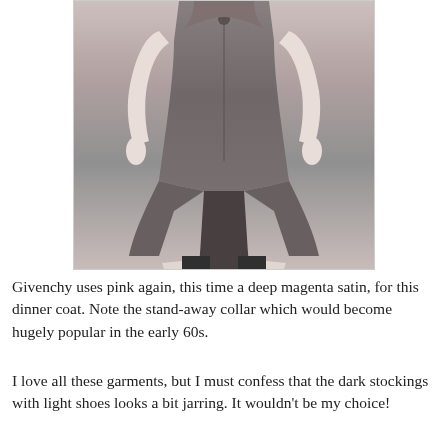[Figure (photo): Black and white photograph of a woman from neck down wearing a dinner coat with a stand-away collar, dark stockings, and light-colored heeled shoes.]
Givenchy uses pink again, this time a deep magenta satin, for this dinner coat.  Note the stand-away collar which would become hugely popular in the early 60s.
I love all these garments, but I must confess that the dark stockings with light shoes looks a bit jarring.  It wouldn't be my choice!